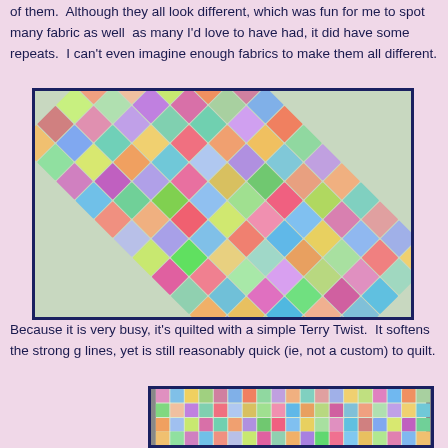of them.  Although they all look different, which was fun for me to spot many fabrics as well  as many I'd love to have had, it did have some repeats.  I can't even imagine enough fabrics to make them all different.
[Figure (photo): Close-up photo of a colorful patchwork/cathedral windows quilt with many different fabric squares arranged in a diamond pattern, showing rich variety of colors and patterns.]
Because it is very busy, it's quilted with a simple Terry Twist.  It softens the strong g lines, yet is still reasonably quick (ie, not a custom) to quilt.
[Figure (photo): Photo of a colorful patchwork quilt laid out flat, showing rows of multicolored squares in a grid pattern.]